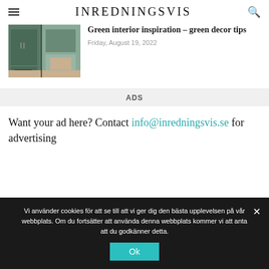INREDNINGSVIS
Green interior inspiration – green decor tips
Friday, August 19, 2022
[Figure (photo): Kitchen interior with dark green cabinets and wooden floor]
ADS
Want your ad here? Contact info@inredningsvis.se for advertising
Vi använder cookies för att se till att vi ger dig den bästa upplevelsen på vår webbplats. Om du fortsätter att använda denna webbplats kommer vi att anta att du godkänner detta.